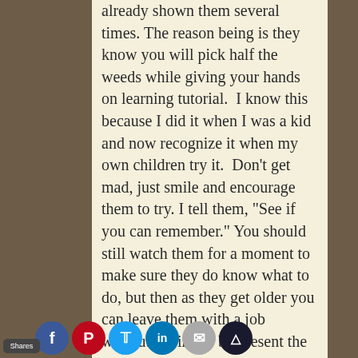already shown them several times. The reason being is they know you will pick half the weeds while giving your hands on learning tutorial.  I know this because I did it when I was a kid and now recognize it when my own children try it.  Don't get mad, just smile and encourage them to try. I tell them, “See if you can remember.” You should still watch them for a moment to make sure they do know what to do, but then as they get older you can leave them with a job without having to be present the entire time. This is a good sign you are graduating to the next level.
When teaching hands-on learning, try to pick some thi…hat are special…ill. M…ng on…y